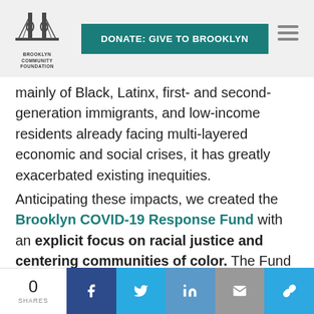DONATE: GIVE TO BROOKLYN | Brooklyn Community Foundation
mainly of Black, Latinx, first- and second-generation immigrants, and low-income residents already facing multi-layered economic and social crises, it has greatly exacerbated existing inequities.
Anticipating these impacts, we created the Brooklyn COVID-19 Response Fund with an explicit focus on racial justice and centering communities of color. The Fund has since become the largest community-supported emergency response in the Foundation's history.
0 SHARES | Facebook | Twitter | LinkedIn | Email | Link